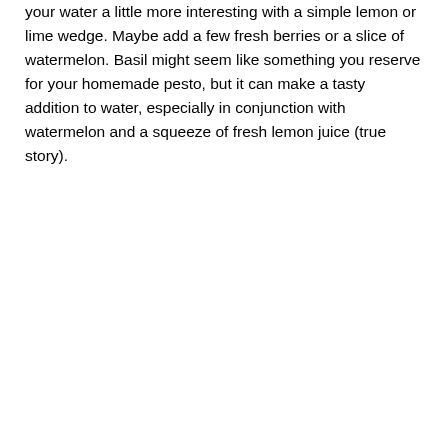your water a little more interesting with a simple lemon or lime wedge. Maybe add a few fresh berries or a slice of watermelon. Basil might seem like something you reserve for your homemade pesto, but it can make a tasty addition to water, especially in conjunction with watermelon and a squeeze of fresh lemon juice (true story).